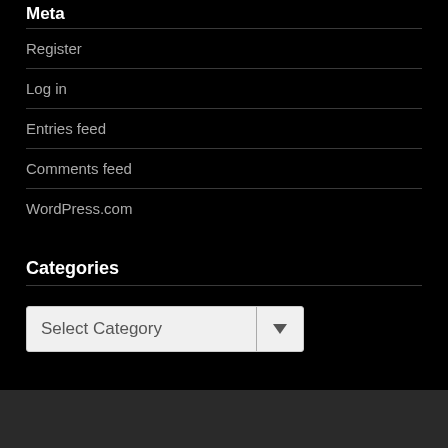Meta
Register
Log in
Entries feed
Comments feed
WordPress.com
Categories
[Figure (screenshot): A dropdown widget labeled 'Select Category' with a down arrow on the right side, white background with a divider between the label and arrow.]